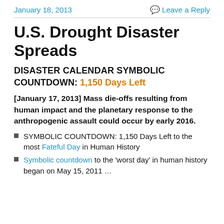January 18, 2013   Leave a Reply
U.S. Drought Disaster Spreads
DISASTER CALENDAR SYMBOLIC COUNTDOWN: 1,150 Days Left
[January 17, 2013] Mass die-offs resulting from human impact and the planetary response to the anthropogenic assault could occur by early 2016.
SYMBOLIC COUNTDOWN: 1,150 Days Left to the most Fateful Day in Human History
Symbolic countdown to the 'worst day' in human history began on May 15, 2011 …